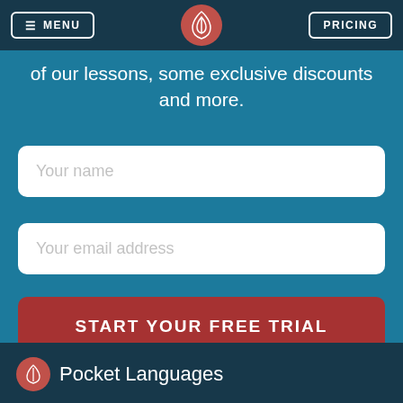MENU | [logo] | PRICING
of our lessons, some exclusive discounts and more.
[Figure (screenshot): Web form with 'Your name' text input field, white rounded rectangle on teal background]
[Figure (screenshot): Web form with 'Your email address' text input field, white rounded rectangle on teal background]
[Figure (screenshot): Red rounded button labeled 'START YOUR FREE TRIAL' on teal background]
Pocket Languages